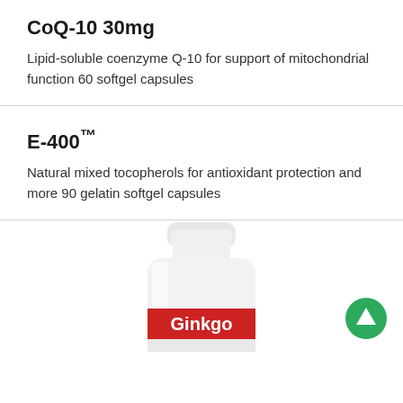CoQ-10 30mg
Lipid-soluble coenzyme Q-10 for support of mitochondrial function 60 softgel capsules
E-400™
Natural mixed tocopherols for antioxidant protection and more 90 gelatin softgel capsules
[Figure (photo): A white supplement bottle with a red label reading 'Ginkgo', partially visible at bottom of page. A green circular up-arrow button is overlaid at bottom right.]